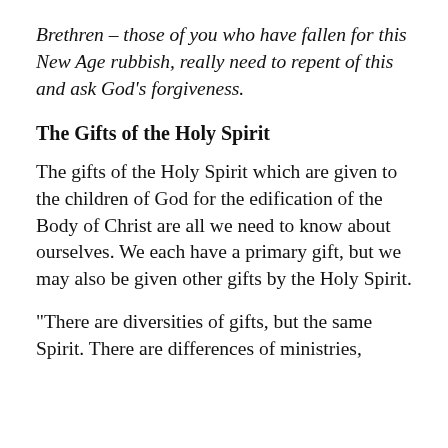Brethren – those of you who have fallen for this New Age rubbish, really need to repent of this and ask God's forgiveness.
The Gifts of the Holy Spirit
The gifts of the Holy Spirit which are given to the children of God for the edification of the Body of Christ are all we need to know about ourselves. We each have a primary gift, but we may also be given other gifts by the Holy Spirit.
“There are diversities of gifts, but the same Spirit. There are differences of ministries,